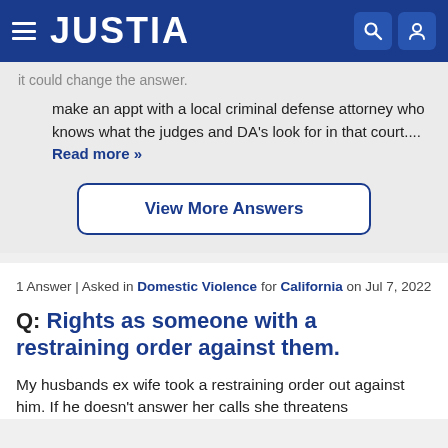JUSTIA
it could change the answer.
make an appt with a local criminal defense attorney who knows what the judges and DA's look for in that court....
Read more »
View More Answers
1 Answer | Asked in Domestic Violence for California on Jul 7, 2022
Q: Rights as someone with a restraining order against them.
My husbands ex wife took a restraining order out against him. If he doesn't answer her calls she threatens